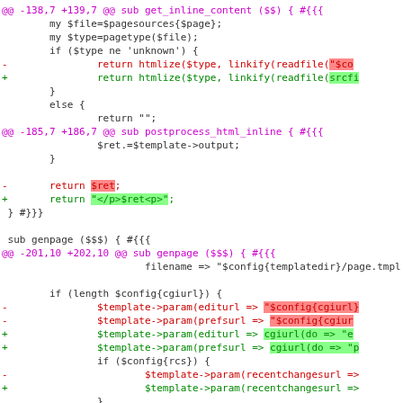[Figure (screenshot): A unified diff / code patch view showing Perl source code changes. Lines prefixed with @@ are hunk headers in magenta, lines with - are removed (red), lines with + are added (green), highlighted sections show changed tokens.]